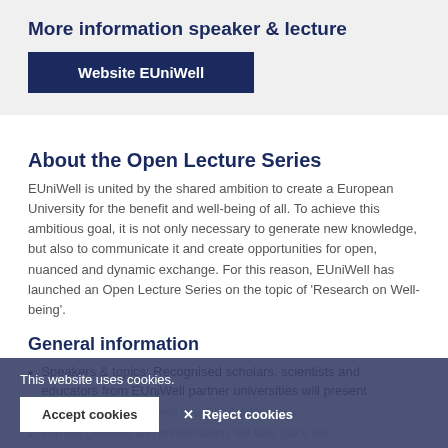More information speaker & lecture
Website EUniWell
About the Open Lecture Series
EUniWell is united by the shared ambition to create a European University for the benefit and well-being of all. To achieve this ambitious goal, it is not only necessary to generate new knowledge, but also to communicate it and create opportunities for open, nuanced and dynamic exchange. For this reason, EUniWell has launched an Open Lecture Series on the topic of 'Research on Well-being'.
General information
Speakers & topics: Recognised scholars, scientists and educators from EUniWell partner universities will present on well-being issues and new EUniWell Arenas.
Format: Lectures and presentations will take place live
This website uses cookies.
Accept cookies
✕ Reject cookies